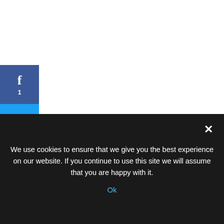[Figure (other): Social sharing sidebar with Facebook (1 share), Twitter, Pinterest, LinkedIn, Email, and Print buttons arranged vertically on the left side]
IMPACT OF PACKAGING ON ORGANIZATIONAL SALES TURNOVER (A CASE STUDY OF PZ NIGERIA LIMITED)
About The Author
We use cookies to ensure that we give you the best experience on our website. If you continue to use this site we will assume that you are happy with it.
Ok